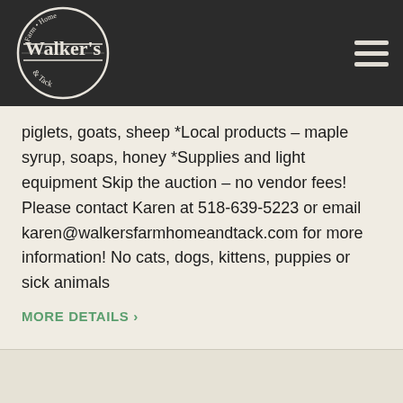[Figure (logo): Walker's Farm Home & Tack circular logo with farm scene illustration in white on dark background]
piglets, goats, sheep *Local products – maple syrup, soaps, honey *Supplies and light equipment Skip the auction – no vendor fees! Please contact Karen at 518-639-5223 or email karen@walkersfarmhomeandtack.com for more information! No cats, dogs, kittens, puppies or sick animals
MORE DETAILS ›